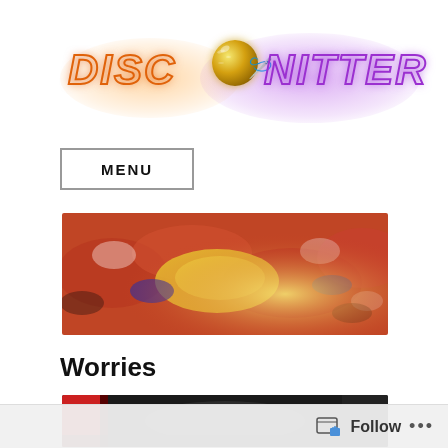[Figure (logo): Disco Knitter logo: 'DISCO' in orange retro italic letters with an orange glow, a gold disco ball, a small yarn skein emoji, and 'NITTER' in purple retro italic letters with a purple glow]
MENU
[Figure (photo): Close-up photo of multicolored wool roving or felted fabric in red, orange, yellow, and purple tones]
Worries
[Figure (photo): Partial photo at bottom, mostly dark with red element, partially cropped]
Follow ...